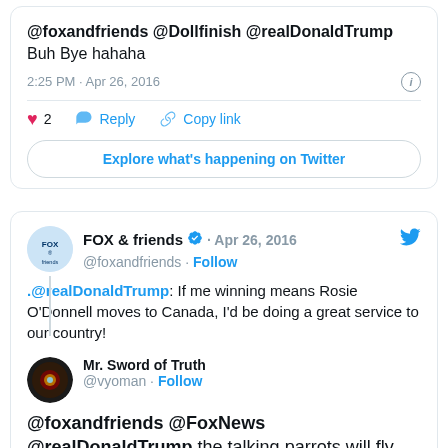@foxandfriends @Dollfinish @realDonaldTrump Buh Bye hahaha
2:25 PM · Apr 26, 2016
♥ 2  Reply  Copy link
Explore what's happening on Twitter
FOX & friends @foxandfriends · Follow · Apr 26, 2016
.@realDonaldTrump: If me winning means Rosie O'Donnell moves to Canada, I'd be doing a great service to our country!
Mr. Sword of Truth @vyoman · Follow
@foxandfriends @FoxNews @realDonaldTrump the talking parrots will fly back as soon as the impact of